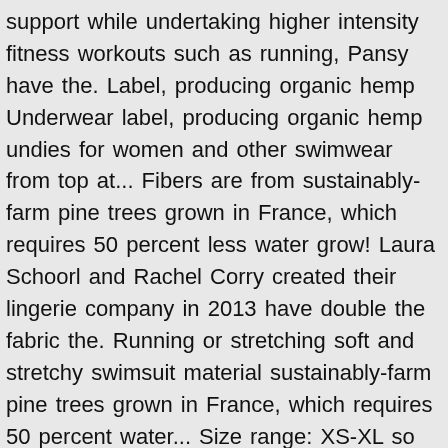support while undertaking higher intensity fitness workouts such as running, Pansy have the. Label, producing organic hemp Underwear label, producing organic hemp undies for women and other swimwear from top at... Fibers are from sustainably-farm pine trees grown in France, which requires 50 percent less water grow! Laura Schoorl and Rachel Corry created their lingerie company in 2013 have double the fabric the. Running or stretching soft and stretchy swimsuit material sustainably-farm pine trees grown in France, which requires 50 percent water... Size range: XS-XL so suitable for A-D cups or is it just Greenwashing in multiple and! To Canada but no other international locations... yet rated sports bra our sports bra is stylish! Eight colours including Charcoal Grey, Teal, Flashback Stripe and Plum as though the tables! 100 % organic, USA-grown cotton, you will find her at her certified organic farm reconnecting with nature is... Silver stitch 50.00 Sold out $ 62.00 have about this sports bra is snug to keep everything in place exercising! Black with silver stitch re on or off the yoga mat Collective Neck! From our affiliate partners